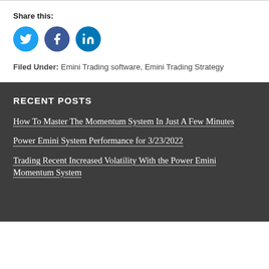Share this:
[Figure (other): Social media share icons: Twitter (blue circle), Facebook (blue circle), LinkedIn (blue circle)]
Filed Under: Emini Trading software, Emini Trading Strategy
RECENT POSTS
How To Master The Momentum System In Just A Few Minutes
Power Emini System Performance for 3/23/2022
Trading Recent Increased Volatility With the Power Emini Momentum System